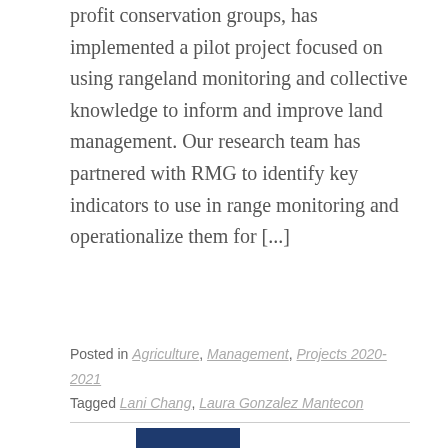profit conservation groups, has implemented a pilot project focused on using rangeland monitoring and collective knowledge to inform and improve land management. Our research team has partnered with RMG to identify key indicators to use in range monitoring and operationalize them for [...]
Posted in Agriculture, Management, Projects 2020-2021
Tagged Lani Chang, Laura Gonzalez Mantecon
[Figure (illustration): A 2x2 grid of colored tiles spelling '2021'. Top-left tile is dark navy blue with white '2', top-right tile is golden yellow with white '0', bottom-left tile is golden yellow with white '2', bottom-right tile is dark navy blue with white '1'.]